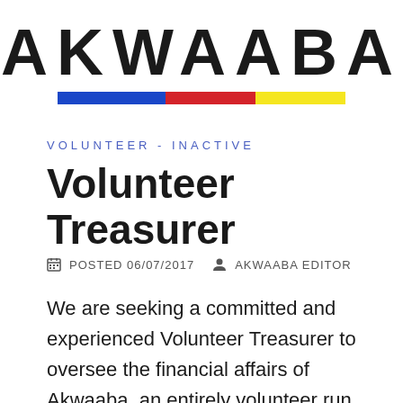[Figure (logo): AKWAABA logo in large bold hand-drawn style text with three colored bars below: blue, red, yellow]
VOLUNTEER - INACTIVE
Volunteer Treasurer
POSTED 06/07/2017   AKWAABA EDITOR
We are seeking a committed and experienced Volunteer Treasurer to oversee the financial affairs of Akwaaba, an entirely volunteer run social centre for migrants based in Hackney.